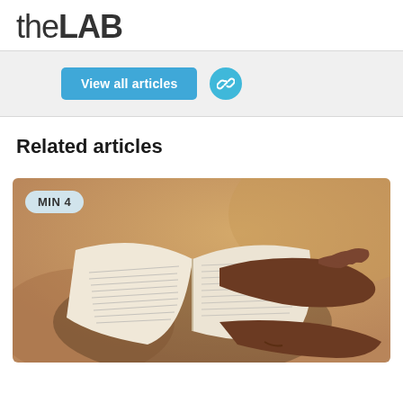theLAB
[Figure (screenshot): Banner area with 'View all articles' teal button and a circular link icon on a light grey background]
Related articles
[Figure (photo): Person's hands holding open a book (Bible) outdoors, warm blurred background, with a 'MIN 4' badge in top-left corner]